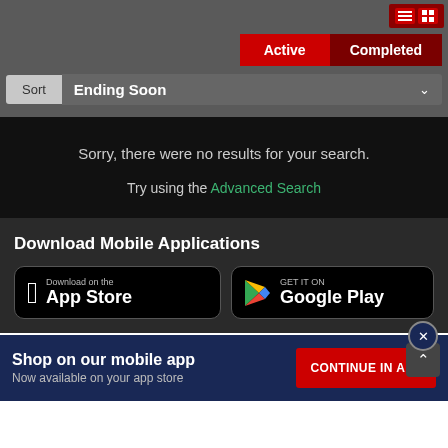[Figure (screenshot): UI toolbar with Active and Completed tab buttons in red, and a Sort dropdown showing Ending Soon]
Sorry, there were no results for your search.
Try using the Advanced Search
Download Mobile Applications
[Figure (screenshot): App Store and Google Play download buttons on dark background]
Shop on our mobile app
Now available on your app store